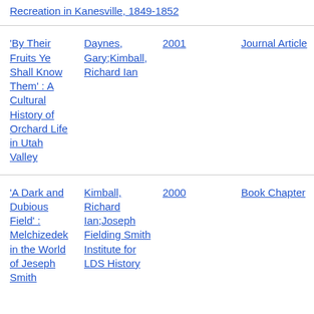Recreation in Kanesville, 1849-1852
'By Their Fruits Ye Shall Know Them' : A Cultural History of Orchard Life in Utah Valley | Daynes, Gary;Kimball, Richard Ian | 2001 | Journal Article
'A Dark and Dubious Field' : Melchizedek in the World of Jeseph Smith | Kimball, Richard Ian;Joseph Fielding Smith Institute for LDS History | 2000 | Book Chapter